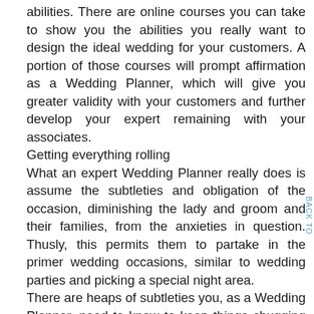abilities. There are online courses you can take to show you the abilities you really want to design the ideal wedding for your customers. A portion of those courses will prompt affirmation as a Wedding Planner, which will give you greater validity with your customers and further develop your expert remaining with your associates.
Getting everything rolling
What an expert Wedding Planner really does is assume the subtleties and obligation of the occasion, diminishing the lady and groom and their families, from the anxieties in question. Thusly, this permits them to partake in the primer wedding occasions, similar to wedding parties and picking a special night area.
There are heaps of subtleties you, as a Wedding Planner, need to know to keep things chugging along as expected and acceptable for the spending plan accessible. You should have a bunch